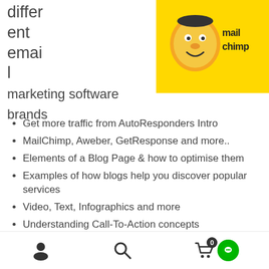[Figure (logo): Mailchimp logo on yellow background with cartoon freddie mascot]
different email marketing software brands
Get more traffic from AutoResponders Intro
MailChimp, Aweber, GetResponse and more..
Elements of a Blog Page & how to optimise them
Examples of how blogs help you discover popular services
Video, Text, Infographics and more
Understanding Call-To-Action concepts
Introduction to Analytics
Related products